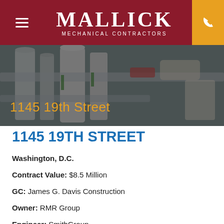MALLICK MECHANICAL CONTRACTORS
[Figure (photo): Industrial mechanical room with large pipes, ducts, and equipment, with overlay title '1145 19th Street']
1145 19TH STREET
Washington, D.C.
Contract Value: $8.5 Million
GC: James G. Davis Construction
Owner: RMR Group
Engineer: SmithGroup